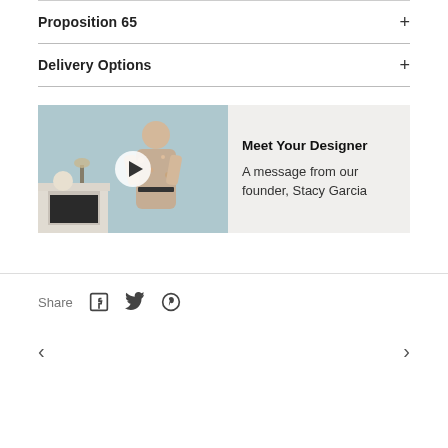Proposition 65
Delivery Options
[Figure (infographic): Promotional banner showing a woman in a floral dress standing by a fireplace with a play button overlay, alongside text 'Meet Your Designer – A message from our founder, Stacy Garcia']
Meet Your Designer
A message from our founder, Stacy Garcia
Share
< >